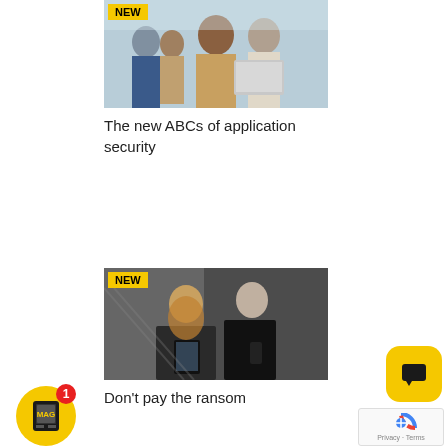[Figure (photo): Business people in office meeting with laptop, NEW badge in top-left corner]
The new ABCs of application security
[Figure (photo): Two business people walking with tablet and phone, NEW badge in top-left corner]
Don't pay the ransom
[Figure (other): Yellow rounded square chat button with dark chat bubble icon]
[Figure (other): reCAPTCHA widget with Privacy and Terms links]
[Figure (other): Yellow circular MAG magazine button with red notification badge showing 1]